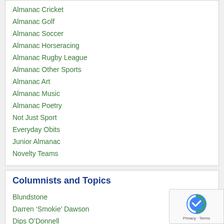Almanac Cricket
Almanac Golf
Almanac Soccer
Almanac Horseracing
Almanac Rugby League
Almanac Other Sports
Almanac Art
Almanac Music
Almanac Poetry
Not Just Sport
Everyday Obits
Junior Almanac
Novelty Teams
Columnists and Topics
Blundstone
Darren ‘Smokie’ Dawson
Dips O’Donnell
E. regnans
Glen!
Haiku Bob